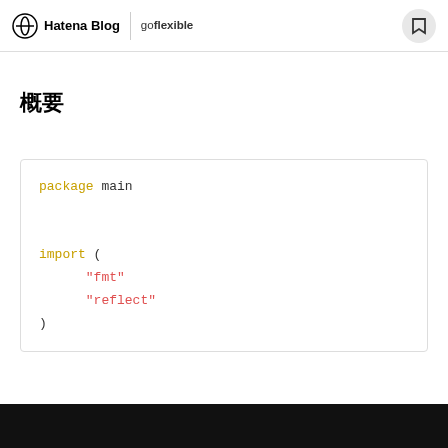Hatena Blog | go flexible (Japanese characters)
概要 (Japanese characters for title)
Japanese placeholder text (section description)
[Figure (screenshot): Go code block showing: package main, import ( "fmt" "reflect" )]